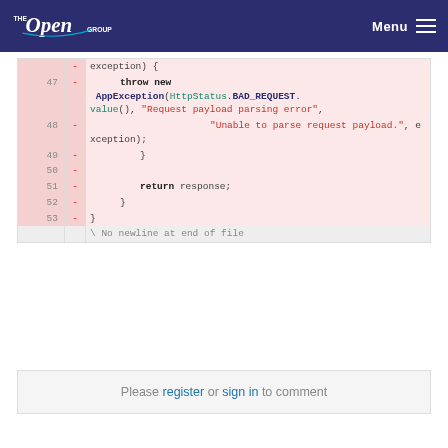The Open Group | Menu
[Figure (screenshot): Code diff viewer showing lines 47-53 of a Java file with deleted lines highlighted in pink. Line 47: throw new AppException(HttpStatus.BAD_REQUEST.value(), "Request payload parsing error", Line 48: "Unable to parse request payload.", exception); Line 49: } Line 50: (blank) Line 51: return response; Line 52: } Line 53: } followed by \ No newline at end of file]
Please register or sign in to comment